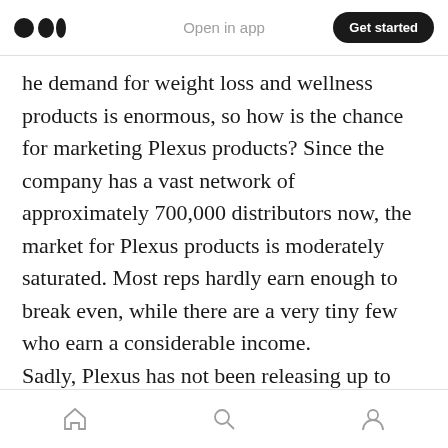Open in app | Get started
he demand for weight loss and wellness products is enormous, so how is the chance for marketing Plexus products? Since the company has a vast network of approximately 700,000 distributors now, the market for Plexus products is moderately saturated. Most reps hardly earn enough to break even, while there are a very tiny few who earn a considerable income. Sadly, Plexus has not been releasing up to date income disclosure statements with comprehensive information. The most up-to-date detailed information that can easily be found
Home | Search | Profile